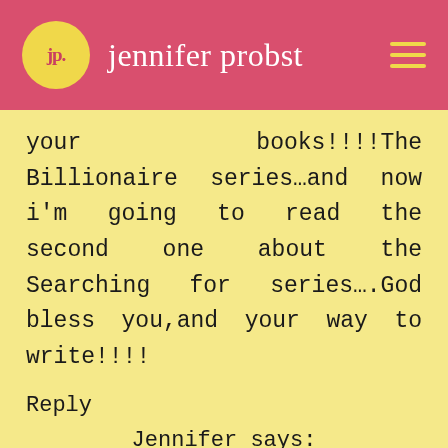jennifer probst
your books!!!!The Billionaire series…and now i'm going to read the second one about the Searching for series….God bless you,and your way to write!!!!
Reply
Jennifer says: